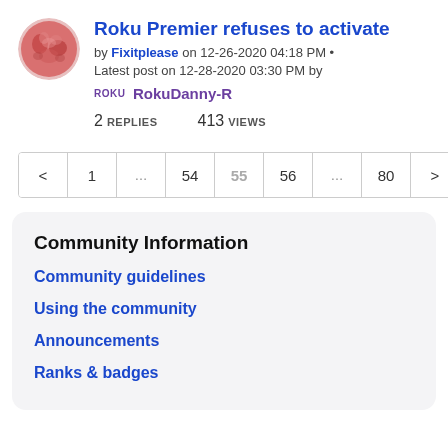Roku Premier refuses to activate
by Fixitplease on 12-26-2020 04:18 PM •
Latest post on 12-28-2020 03:30 PM by
Roku RokuDanny-R
2 REPLIES   413 VIEWS
[Figure (other): Pagination bar with pages: < 1 ... 54 55 56 ... 80 >]
Community Information
Community guidelines
Using the community
Announcements
Ranks & badges